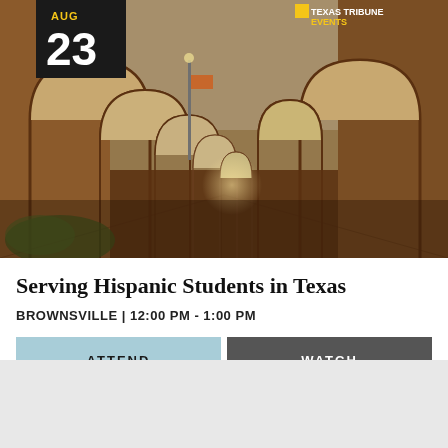[Figure (photo): Arched brick colonnade hallway at a university campus, perspective view showing repeating arches receding into distance. A date badge in top-left corner shows 'AUG 23' in black box. Texas Tribune Events logo in top-right.]
Serving Hispanic Students in Texas
BROWNSVILLE | 12:00 PM - 1:00 PM
ATTEND
WATCH